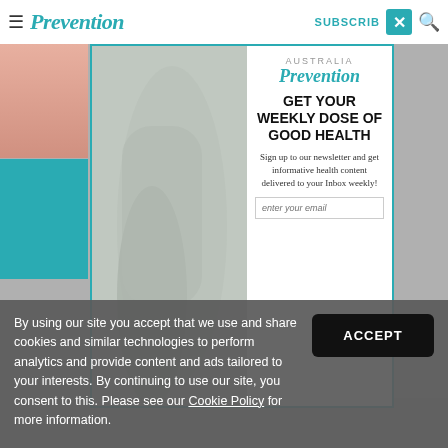Prevention Australia — navigation bar with hamburger menu, logo, SUBSCRIBE, close button, search icon
[Figure (screenshot): Prevention Australia newsletter signup modal overlay on a website. Left side shows a person in grey athletic wear. Right side shows Prevention Australia logo, headline GET YOUR WEEKLY DOSE OF GOOD HEALTH, subtext about newsletter signup, and an email input field.]
GET YOUR WEEKLY DOSE OF GOOD HEALTH
Sign up to our newsletter and get informative health content delivered to your Inbox weekly!
enter your email
By using our site you accept that we use and share cookies and similar technologies to perform analytics and provide content and ads tailored to your interests. By continuing to use our site, you consent to this. Please see our Cookie Policy for more information.